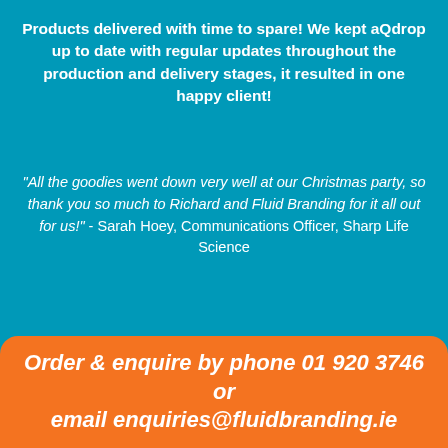Products delivered with time to spare! We kept aQdrop up to date with regular updates throughout the production and delivery stages, it resulted in one happy client!
"All the goodies went down very well at our Christmas party, so thank you so much to Richard and Fluid Branding for it all out for us!" - Sarah Hoey, Communications Officer, Sharp Life Science
Order & enquire by phone 01 920 3746 or email enquiries@fluidbranding.ie